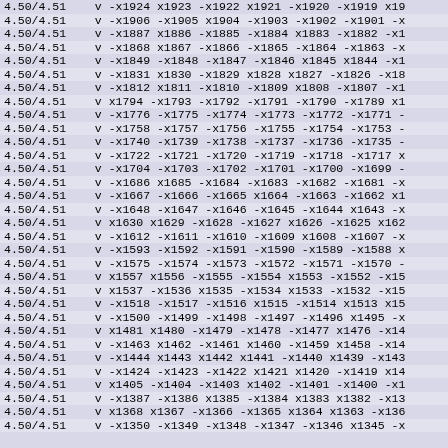| 4.50/4.51 | v -x1924 x1923 -x1922 x1921 -x1920 -x1919 x19 |
| 4.50/4.51 | v -x1906 -x1905 x1904 -x1903 -x1902 -x1901 -x |
| 4.50/4.51 | v -x1887 x1886 -x1885 -x1884 x1883 -x1882 -x1 |
| 4.50/4.51 | v -x1868 x1867 -x1866 -x1865 -x1864 -x1863 -x |
| 4.50/4.51 | v -x1849 -x1848 -x1847 -x1846 x1845 x1844 -x1 |
| 4.50/4.51 | v -x1831 x1830 -x1829 x1828 x1827 -x1826 -x18 |
| 4.50/4.51 | v -x1812 x1811 -x1810 -x1809 x1808 -x1807 -x1 |
| 4.50/4.51 | v x1794 -x1793 -x1792 -x1791 -x1790 -x1789 x1 |
| 4.50/4.51 | v -x1776 -x1775 -x1774 -x1773 -x1772 -x1771 - |
| 4.50/4.51 | v -x1758 -x1757 -x1756 -x1755 -x1754 -x1753 - |
| 4.50/4.51 | v -x1740 -x1739 -x1738 -x1737 -x1736 -x1735 - |
| 4.50/4.51 | v -x1722 -x1721 -x1720 -x1719 -x1718 -x1717 x |
| 4.50/4.51 | v -x1704 -x1703 -x1702 -x1701 -x1700 -x1699 - |
| 4.50/4.51 | v -x1686 x1685 -x1684 -x1683 -x1682 -x1681 -x |
| 4.50/4.51 | v -x1667 -x1666 -x1665 x1664 -x1663 -x1662 x1 |
| 4.50/4.51 | v -x1648 -x1647 -x1646 -x1645 -x1644 x1643 -x |
| 4.50/4.51 | v x1630 x1629 -x1628 -x1627 x1626 -x1625 x162 |
| 4.50/4.51 | v -x1612 -x1611 -x1610 -x1609 x1608 -x1607 -x |
| 4.50/4.51 | v -x1593 -x1592 -x1591 -x1590 -x1589 -x1588 x |
| 4.50/4.51 | v -x1575 -x1574 -x1573 -x1572 -x1571 -x1570 - |
| 4.50/4.51 | v x1557 x1556 -x1555 -x1554 x1553 -x1552 -x15 |
| 4.50/4.51 | v x1537 -x1536 x1535 -x1534 x1533 -x1532 -x15 |
| 4.50/4.51 | v -x1518 -x1517 -x1516 x1515 -x1514 x1513 x15 |
| 4.50/4.51 | v -x1500 -x1499 -x1498 -x1497 -x1496 x1495 -x |
| 4.50/4.51 | v x1481 x1480 -x1479 -x1478 -x1477 x1476 -x14 |
| 4.50/4.51 | v -x1463 x1462 -x1461 x1460 -x1459 x1458 -x14 |
| 4.50/4.51 | v -x1444 x1443 x1442 x1441 -x1440 x1439 -x143 |
| 4.50/4.51 | v -x1424 -x1423 -x1422 x1421 x1420 -x1419 x14 |
| 4.50/4.51 | v x1405 -x1404 -x1403 x1402 -x1401 -x1400 -x1 |
| 4.50/4.51 | v -x1387 -x1386 x1385 -x1384 x1383 x1382 -x13 |
| 4.50/4.51 | v x1368 x1367 -x1366 -x1365 x1364 x1363 -x136 |
| 4.50/4.51 | v -x1350 -x1349 -x1348 -x1347 -x1346 x1345 -x |